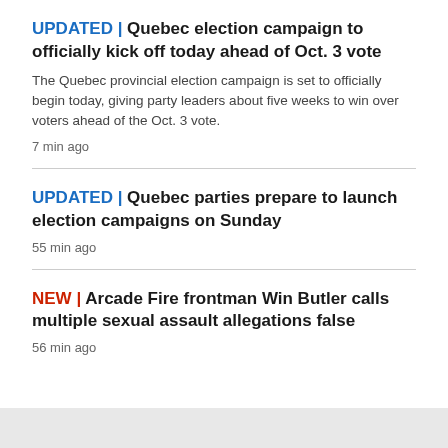UPDATED | Quebec election campaign to officially kick off today ahead of Oct. 3 vote
The Quebec provincial election campaign is set to officially begin today, giving party leaders about five weeks to win over voters ahead of the Oct. 3 vote.
7 min ago
UPDATED | Quebec parties prepare to launch election campaigns on Sunday
55 min ago
NEW | Arcade Fire frontman Win Butler calls multiple sexual assault allegations false
56 min ago